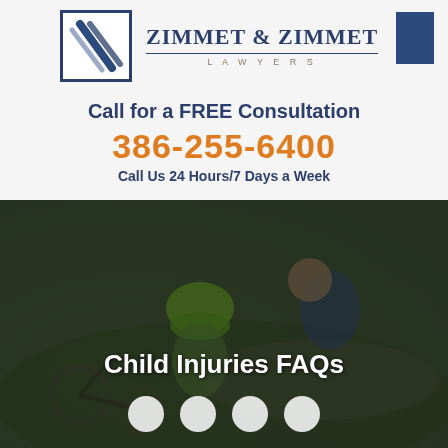[Figure (logo): Zimmet & Zimmet Lawyers logo with diagonal stripe Z emblem in dark blue square border, firm name in serif dark blue with LAWYERS in spaced gold caps underneath, and a solid dark blue rectangle on the right]
Call for a FREE Consultation
386-255-6400
Call Us 24 Hours/7 Days a Week
[Figure (photo): Photo of an adult leaning over a child wearing a green bicycle helmet who is sitting on the ground next to a fallen bicycle, with a dark overlay. Title 'Child Injuries FAQs' overlaid in white. Four white navigation dots at the bottom.]
Child Injuries FAQs